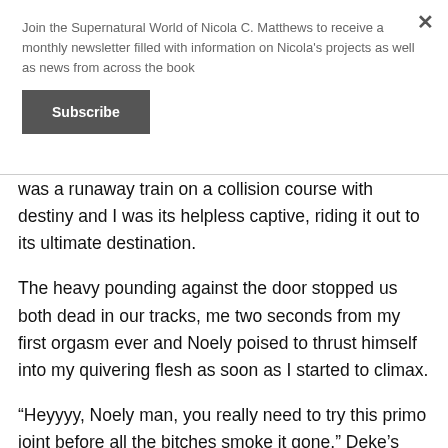Join the Supernatural World of Nicola C. Matthews to receive a monthly newsletter filled with information on Nicola's projects as well as news from across the book
Subscribe
was a runaway train on a collision course with destiny and I was its helpless captive, riding it out to its ultimate destination.
The heavy pounding against the door stopped us both dead in our tracks, me two seconds from my first orgasm ever and Noely poised to thrust himself into my quivering flesh as soon as I started to climax.
“Heyyyy, Noely man, you really need to try this primo joint before all the bitches smoke it gone,” Deke’s slurred voice